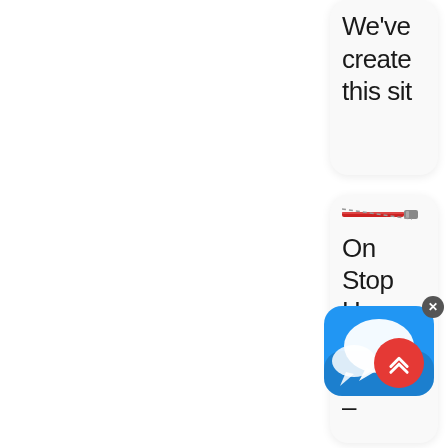We've create this sit
[Figure (screenshot): A product card showing a hose icon and partial text: 'On Stop Hose & Hydra – DIEHATJ2D JACK HOSE'. Overlaid with a chat app popup icon and a red scroll-to-top button.]
On Stop Hose & Hydra – DIEHATJ2D JACK HOSE